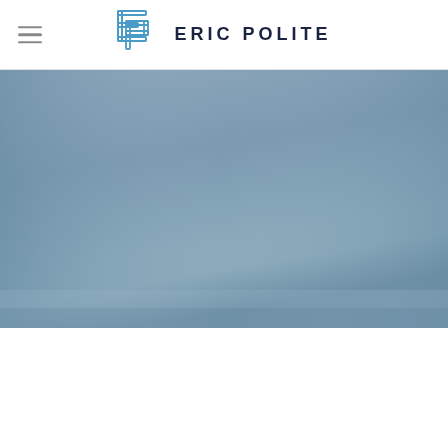ERIC POLITE
[Figure (photo): Hero image with a blue-grey gradient background, appears to be an outdoor/sky photo with blue-grey tones, no visible text content]